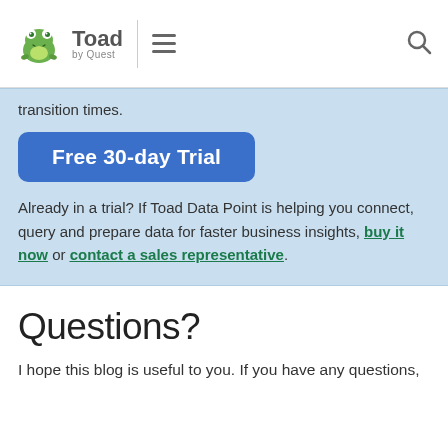Toad by Quest
transition times.
Free 30-day Trial
Already in a trial? If Toad Data Point is helping you connect, query and prepare data for faster business insights, buy it now or contact a sales representative.
Questions?
I hope this blog is useful to you. If you have any questions,